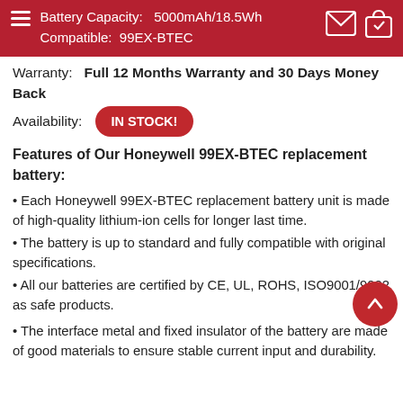Battery Capacity: 5000mAh/18.5Wh
Compatible: 99EX-BTEC
Warranty: Full 12 Months Warranty and 30 Days Money Back
Availability: IN STOCK!
Features of Our Honeywell 99EX-BTEC replacement battery:
Each Honeywell 99EX-BTEC replacement battery unit is made of high-quality lithium-ion cells for longer last time.
The battery is up to standard and fully compatible with original specifications.
All our batteries are certified by CE, UL, ROHS, ISO9001/9002 as safe products.
The interface metal and fixed insulator of the battery are made of good materials to ensure stable current input and durability.